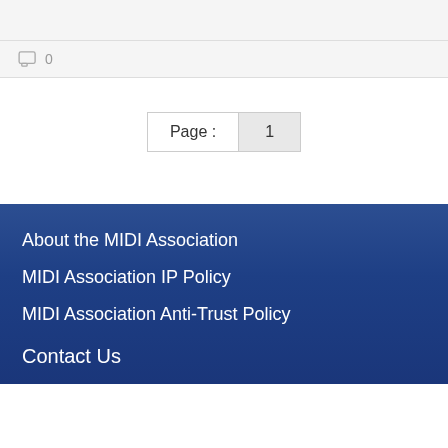0
Page : 1
About the MIDI Association
MIDI Association IP Policy
MIDI Association Anti-Trust Policy
Contact Us